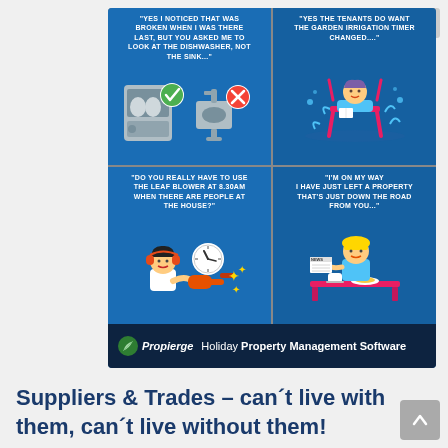[Figure (infographic): A 2x2 grid infographic with blue panels. Top-left: quote 'YES I NOTICED THAT WAS BROKEN WHEN I WAS THERE LAST, BUT YOU ASKED ME TO LOOK AT THE DISHWASHER, NOT THE SINK...' with dishwasher (green check) and sink (red X) icons. Top-right: quote 'YES THE TENANTS DO WANT THE GARDEN IRRIGATION TIMER CHANGED....' with woman sitting in sprinkler water. Bottom-left: quote 'DO YOU REALLY HAVE TO USE THE LEAF BLOWER AT 8.30AM WHEN THERE ARE PEOPLE AT THE HOUSE?' with person using leaf blower and clock showing 8:30. Bottom-right: quote 'I'M ON MY WAY I HAVE JUST LEFT A PROPERTY THAT'S JUST DOWN THE ROAD FROM YOU...' with tradesman reading newspaper at table. Bottom branding bar: Propierge logo with 'Holiday Property Management Software'.]
Suppliers & Trades – can't live with them, can't live without them!